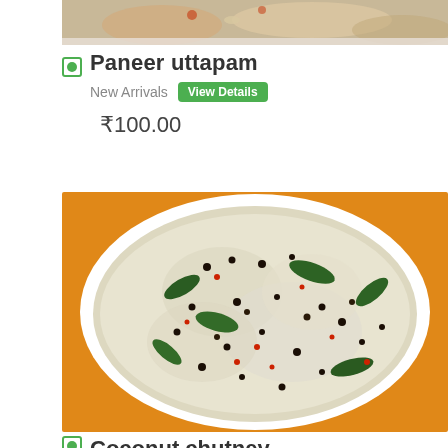[Figure (photo): Partial top view of a food dish, cropped at the top of the page]
Paneer uttapam
New Arrivals   View Details
₹100.00
[Figure (photo): Top-down view of a white bowl containing coconut chutney garnished with curry leaves, mustard seeds, and red chili flakes]
Coconut chutney (partially visible title at bottom)